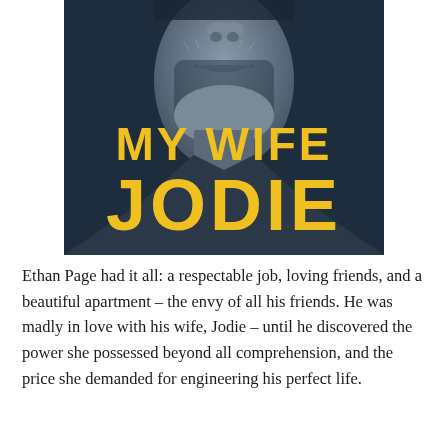[Figure (illustration): Book cover for 'My Wife Jodie' showing a close-up of a man's face (lower half) with blue-grey tones. Large yellow bold text reads 'MY WIFE' on the first line and 'JODIE' in larger text on the second line, overlaid on the dark portrait.]
Ethan Page had it all: a respectable job, loving friends, and a beautiful apartment – the envy of all his friends. He was madly in love with his wife, Jodie – until he discovered the power she possessed beyond all comprehension, and the price she demanded for engineering his perfect life.